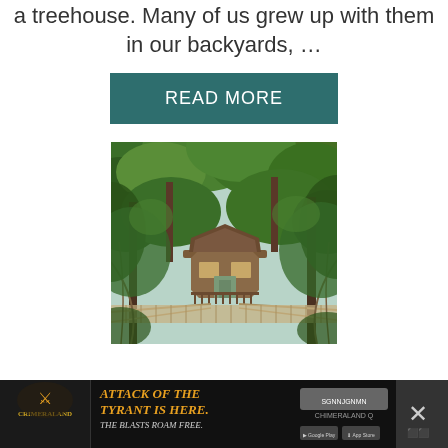a treehouse. Many of us grew up with them in our backyards, …
READ MORE
[Figure (photo): A wooden treehouse with a circular/octagonal shape, surrounded by dense green foliage and trees, accessed by a suspended rope/plank bridge in the foreground.]
[Figure (infographic): Advertisement banner: Crimeraland game ad - 'Attack of the Tyrant Is Here. The Blasts Roam Free.' with game logo, action imagery, install button, and close X button.]